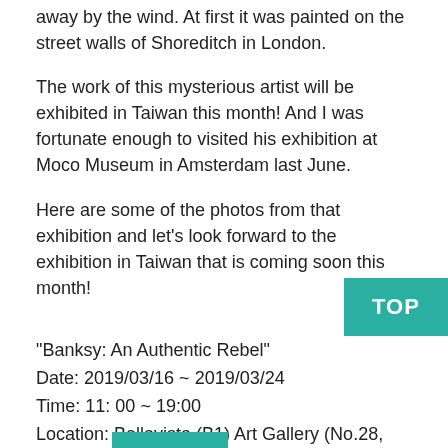away by the wind. At first it was painted on the street walls of Shoreditch in London.
The work of this mysterious artist will be exhibited in Taiwan this month! And I was fortunate enough to visited his exhibition at Moco Museum in Amsterdam last June.
Here are some of the photos from that exhibition and let’s look forward to the exhibition in Taiwan that is coming soon this month!
“Banksy: An Authentic Rebel”
Date: 2019/03/16 ~ 2019/03/24
Time: 11: 00 ~ 19:00
Location: Bellavista (B1) Art Gallery (No.28, Songren Rd., Xinyi Dist., Taipei, Taiwan).